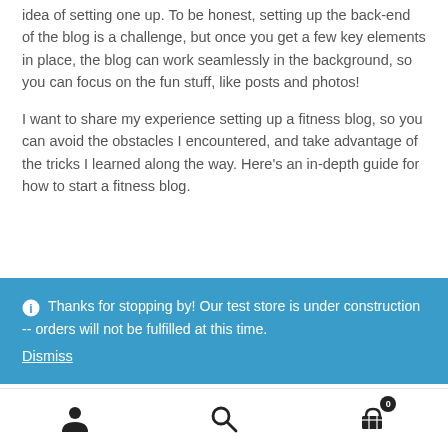idea of setting one up. To be honest, setting up the back-end of the blog is a challenge, but once you get a few key elements in place, the blog can work seamlessly in the background, so you can focus on the fun stuff, like posts and photos!
I want to share my experience setting up a fitness blog, so you can avoid the obstacles I encountered, and take advantage of the tricks I learned along the way. Here's an in-depth guide for how to start a fitness blog.
Thanks for stopping by! Our test store is under construction -- orders will not be fulfilled at this time. Dismiss
[Figure (other): Bottom navigation bar with three icons: person/account icon, search icon, and shopping cart icon with badge showing 0]